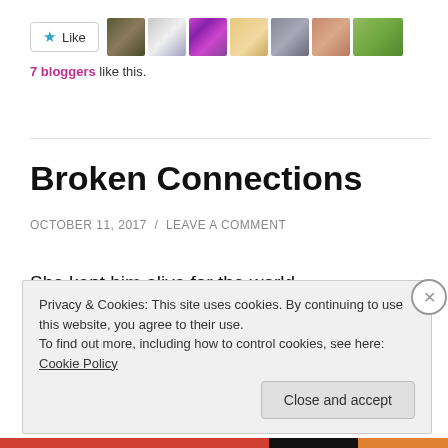[Figure (other): Like button with star icon and 7 blogger avatar thumbnails in a row]
7 bloggers like this.
Broken Connections
OCTOBER 11, 2017 / LEAVE A COMMENT
She kept him alive for the world,
breathing through machines.
Through his cell phone she did this,
Privacy & Cookies: This site uses cookies. By continuing to use this website, you agree to their use.
To find out more, including how to control cookies, see here: Cookie Policy
Close and accept